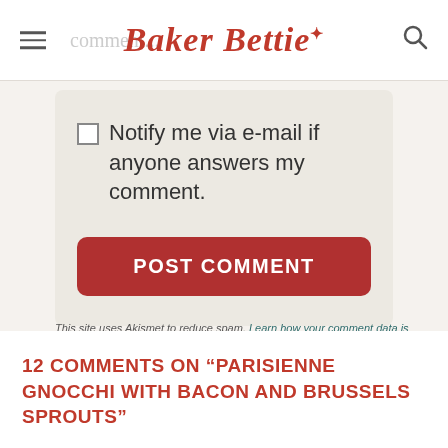Baker Bettie
Notify me via e-mail if anyone answers my comment.
POST COMMENT
This site uses Akismet to reduce spam. Learn how your comment data is processed.
12 COMMENTS ON “PARISIENNE GNOCCHI WITH BACON AND BRUSSELS SPROUTS”